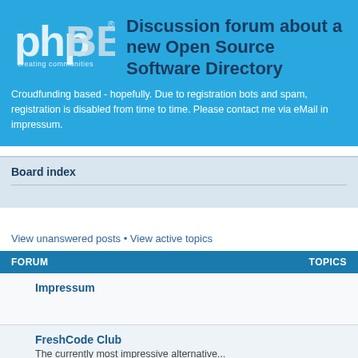[Figure (logo): phpBB logo - creating communities]
Discussion forum about a new Open Source Software Directory
Croudfunding based - hopefully. Due to registration bots and spam, registration is disabled from time to time. Please contact me via eMail in impressum.
Board index
View unanswered posts • View active topics
| FORUM | TOPICS |
| --- | --- |
| Impressum |  |
| FreshCode Club
The currently most impressive alternative... |  |
| FreshCode Club Mirror
Here is the first mirror for the contents that are posted at the main freshcode site. |  |
| Other Activities | 5 |